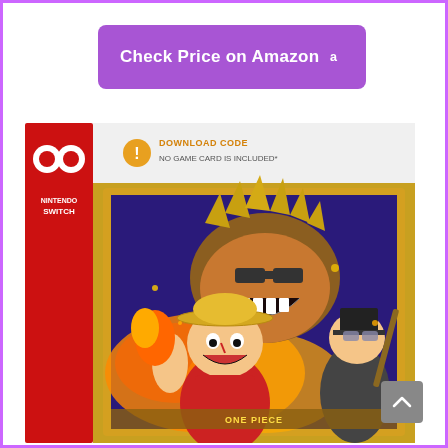[Figure (screenshot): Purple rounded rectangle button with text 'Check Price on Amazon' and Amazon logo (letter 'a' in white) on a white page background with purple border]
[Figure (photo): Nintendo Switch game box for 'One Piece: Pirate Warriors 3 - Deluxe Edition' with gold border. Shows anime characters including Luffy, a large villain, and Sabo. Box has a 'Download Code - No Game Card Is Included' notice at top. Red Nintendo Switch spine on left side.]
[Figure (other): Gray scroll-to-top button with upward arrow in bottom right corner]